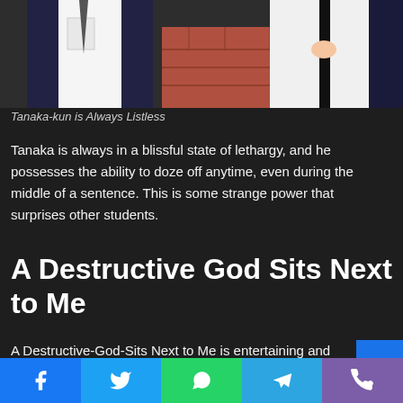[Figure (illustration): Anime screenshot from Tanaka-kun is Always Listless, showing characters in school uniforms from waist up against a brick floor background]
Tanaka-kun is Always Listless
Tanaka is always in a blissful state of lethargy, and he possesses the ability to doze off anytime, even during the middle of a sentence. This is some strange power that surprises other students.
A Destructive God Sits Next to Me
A Destructive-God-Sits Next to Me is entertaining and tells the story of Koyuki Seri, a student with a disposition for whipping out witty retorts. But Seri hate people who wait for resorts,